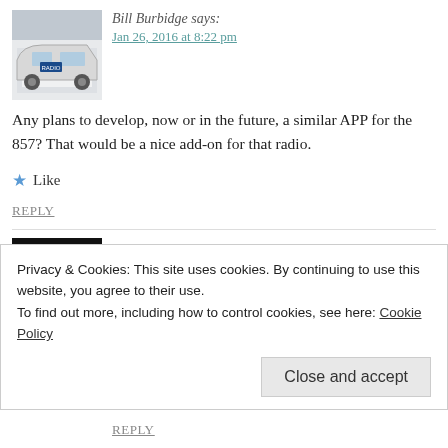Bill Burbidge says:
Jan 26, 2016 at 8:22 pm
Any plans to develop, now or in the future, a similar APP for the 857? That would be a nice add-on for that radio.
Like
REPLY
Andrea IU4APC says:
Jan 26, 2016 at 9:55 pm
Hi Bill,
yes it's already in development. Unfortunately I don't
Privacy & Cookies: This site uses cookies. By continuing to use this website, you agree to their use.
To find out more, including how to control cookies, see here: Cookie Policy
Close and accept
REPLY